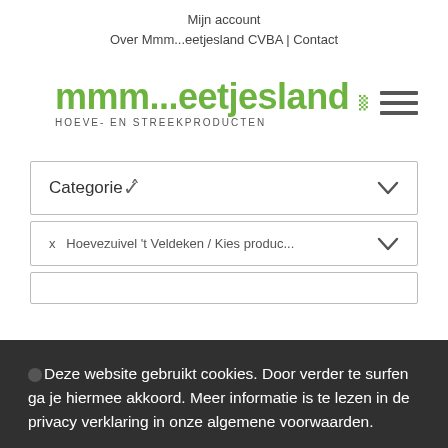Mijn account
Over Mmm...eetjesland CVBA | Contact
[Figure (logo): mmm...eetjesland logo with green text, checkered green pattern square, and hamburger menu icon. Subtitle: HOEVE- EN STREEKPRODUCTEN]
Categorie
x  Hoevezuivel 't Veldeken / Kies produc...
Deze website gebruikt cookies. Door verder te surfen ga je hiermee akkoord. Meer informatie is te lezen in de privacy verklaring in onze algemene voorwaarden.
OK
Meer lezen